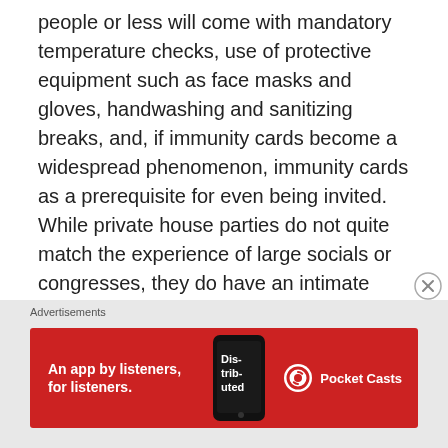people or less will come with mandatory temperature checks, use of protective equipment such as face masks and gloves, handwashing and sanitizing breaks, and, if immunity cards become a widespread phenomenon, immunity cards as a prerequisite for even being invited. While private house parties do not quite match the experience of large socials or congresses, they do have an intimate charm to them, and they will be the closest thing to a real dance social that we will see for quite some time yet.
Other Hobbies
[Figure (screenshot): Advertisement banner: Pocket Casts app ad with red background, text 'An app by listeners, for listeners.' and Pocket Casts logo with phone image.]